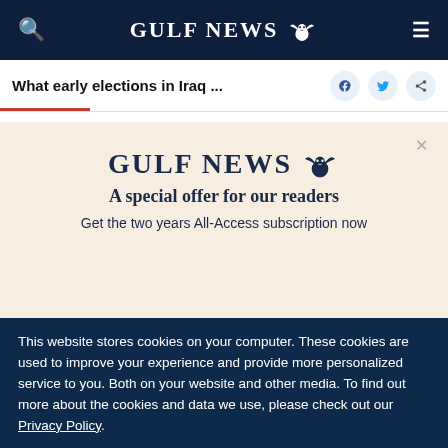GULF NEWS
What early elections in Iraq ...
[Figure (logo): Gulf News masthead logo with eagle emblem and text 'GULF NEWS']
A special offer for our readers
Get the two years All-Access subscription now
This website stores cookies on your computer. These cookies are used to improve your experience and provide more personalized service to you. Both on your website and other media. To find out more about the cookies and data we use, please check out our Privacy Policy.
OK